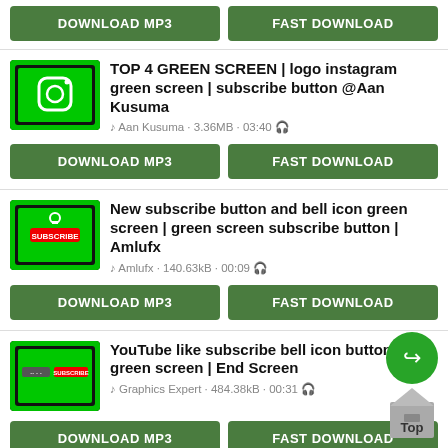DOWNLOAD MP3 | FAST DOWNLOAD (top buttons)
TOP 4 GREEN SCREEN | logo instagram green screen | subscribe button @Aan Kusuma
Aan Kusuma · 3.36MB · 03:40
DOWNLOAD MP3 | FAST DOWNLOAD
New subscribe button and bell icon green screen | green screen subscribe button | Amlufx
Amlufx · 140.63kB · 00:09
DOWNLOAD MP3 | FAST DOWNLOAD
YouTube like subscribe bell icon buttons green screen | End Screen
Graphics Expert · 484.38kB · 00:31
DOWNLOAD MP3 | FAST DOWNLOAD
GREEN SCREEN SUBSCRIBE BUTTON (partial)